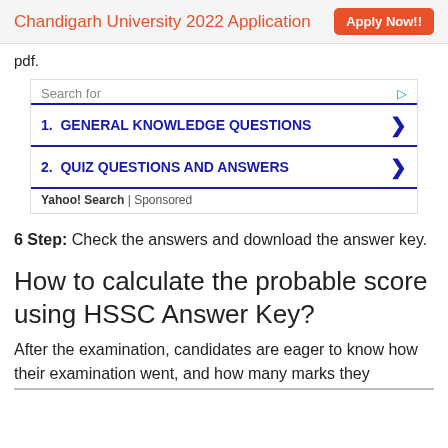Chandigarh University 2022 Application   Apply Now!!
pdf.
[Figure (other): Yahoo Search sponsored ad box with two items: 1. GENERAL KNOWLEDGE QUESTIONS, 2. QUIZ QUESTIONS AND ANSWERS]
6 Step: Check the answers and download the answer key.
How to calculate the probable score using HSSC Answer Key?
After the examination, candidates are eager to know how their examination went, and how many marks they